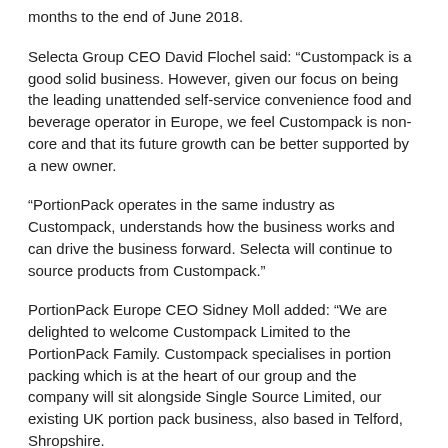months to the end of June 2018.
Selecta Group CEO David Flochel said: “Custompack is a good solid business. However, given our focus on being the leading unattended self-service convenience food and beverage operator in Europe, we feel Custompack is non-core and that its future growth can be better supported by a new owner.
“PortionPack operates in the same industry as Custompack, understands how the business works and can drive the business forward. Selecta will continue to source products from Custompack.”
PortionPack Europe CEO Sidney Moll added: “We are delighted to welcome Custompack Limited to the PortionPack Family. Custompack specialises in portion packing which is at the heart of our group and the company will sit alongside Single Source Limited, our existing UK portion pack business, also based in Telford, Shropshire.
“The management team will now explore synergies and how the two businesses can operate in tandem to enhance our customers’ experiences and continue to serve the UK and Ireland foodservice market with ‘passion for portions’.”
Last month Selecta expanded in the vending market with the acquisition of UK-based vending solution supplier Express Vending.